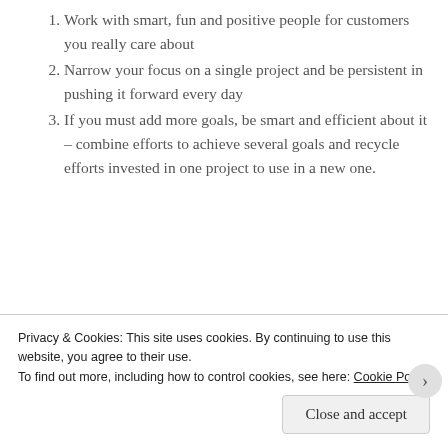Work with smart, fun and positive people for customers you really care about
Narrow your focus on a single project and be persistent in pushing it forward every day
If you must add more goals, be smart and efficient about it – combine efforts to achieve several goals and recycle efforts invested in one project to use in a new one.
[Figure (photo): A red smartphone partially visible against a red background, showing the front camera and buttons area]
Privacy & Cookies: This site uses cookies. By continuing to use this website, you agree to their use.
To find out more, including how to control cookies, see here: Cookie Policy